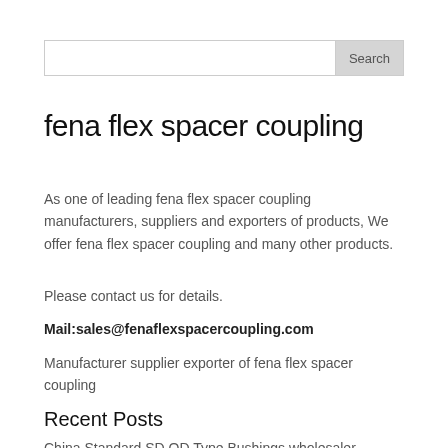[Figure (other): Search bar with text input and Search button]
fena flex spacer coupling
As one of leading fena flex spacer coupling manufacturers, suppliers and exporters of products, We offer fena flex spacer coupling and many other products.
Please contact us for details.
Mail:sales@fenaflexspacercoupling.com
Manufacturer supplier exporter of fena flex spacer coupling
Recent Posts
China Standard SD OD Type Bushings wholesaler